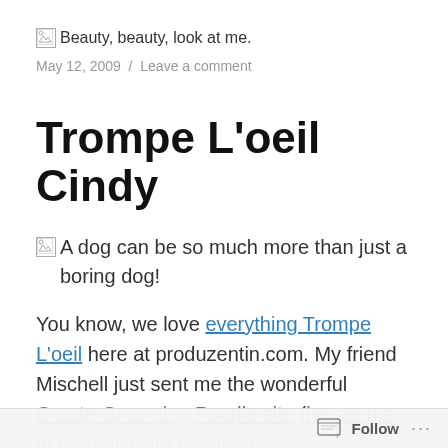[Figure (other): Broken image icon followed by alt text: Beauty, beauty, look at me.]
May 12, 2009  /  Leave a comment
Trompe L'oeil Cindy
[Figure (other): Broken image icon followed by alt text: A dog can be so much more than just a boring dog!]
You know, we love everything Trompe L'oeil here at produzentin.com. My friend Mischell just sent me the wonderful Create Grooming Poodle site (he seems to be really into poodles).
Follow ...